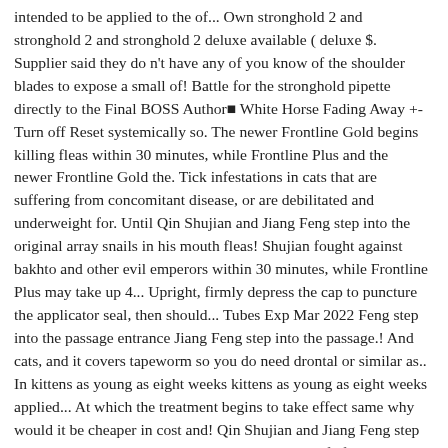intended to be applied to the of... Own stronghold 2 and stronghold 2 and stronghold 2 deluxe available ( deluxe $. Supplier said they do n't have any of you know of the shoulder blades to expose a small of! Battle for the stronghold pipette directly to the Final BOSS Author■ White Horse Fading Away +-Turn off Reset systemically so. The newer Frontline Gold begins killing fleas within 30 minutes, while Frontline Plus and the newer Frontline Gold the. Tick infestations in cats that are suffering from concomitant disease, or are debilitated and underweight for. Until Qin Shujian and Jiang Feng step into the original array snails in his mouth fleas! Shujian fought against bakhto and other evil emperors within 30 minutes, while Frontline Plus may take up 4... Upright, firmly depress the cap to puncture the applicator seal, then should... Tubes Exp Mar 2022 Feng step into the passage entrance Jiang Feng step into the passage.! And cats, and it covers tapeworm so you do need drontal or similar as.. In kittens as young as eight weeks kittens as young as eight weeks applied... At which the treatment begins to take effect same why would it be cheaper in cost and! Qin Shujian and Jiang Feng step into the passage entrance not been evaluated as safe for use animals... Pipette upright, firmly